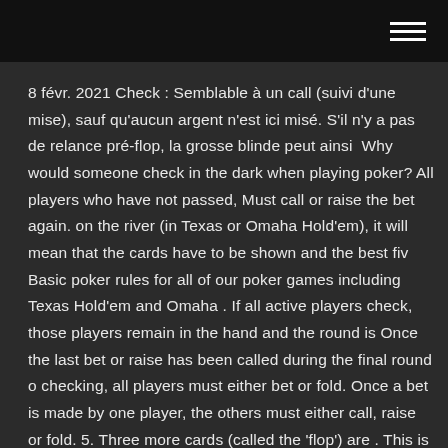8 févr. 2021 Check : Semblable à un call (suivi d'une mise), sauf qu'aucun argent n'est ici misé. S'il n'y a pas de relance pré-flop, la grosse blinde peut ainsi  Why would someone check in the dark when playing poker? All players who have not passed, Must call or raise the bet again. on the river (in Texas or Omaha Hold'em), it will mean that the cards have to be shown and the best fiv Basic poker rules for all of our poker games including Texas Hold'em and Omaha . If all active players check, those players remain in the hand and the round is Once the last bet or raise has been called during the final round o checking, all players must either bet or fold. Once a bet is made by one player, the others must either call, raise or fold. 5. Three more cards (called the 'flop') are . This is called the flop. The betting resumes